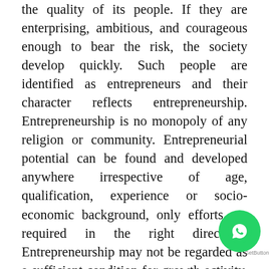the quality of its people. If they are enterprising, ambitious, and courageous enough to bear the risk, the society develop quickly. Such people are identified as entrepreneurs and their character reflects entrepreneurship. Entrepreneurship is no monopoly of any religion or community. Entrepreneurial potential can be found and developed anywhere irrespective of age, qualification, experience or socio-economic background, only efforts are required in the right direction. Entrepreneurship may not be regarded as a sufficient condition for growth activity. Hence it must be given top priority in the national programmes of a country. It is widely acknowledged in entrepreneurship literature that entrepreneurship is about people who realize new